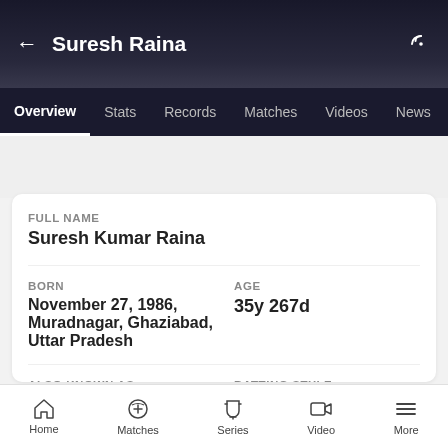Suresh Raina
Overview | Stats | Records | Matches | Videos | News
FULL NAME
Suresh Kumar Raina
BORN
November 27, 1986, Muradnagar, Ghaziabad, Uttar Pradesh
AGE
35y 267d
ALSO KNOWN AS
Sanu
BATTING STYLE
Left hand Bat
BOWLING STYLE
PLAYING ROLE
Home | Matches | Series | Video | More